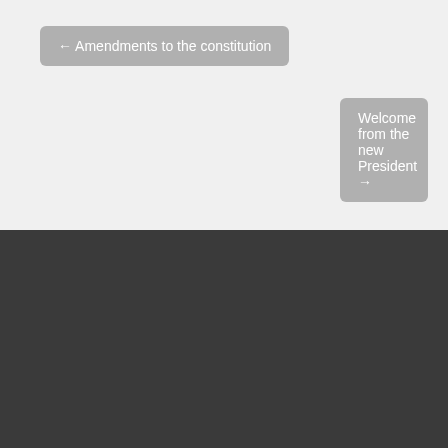← Amendments to the constitution
Welcome from the new President →
Follow Us
[Figure (illustration): Social media icons: Facebook (f), Twitter (bird), LinkedIn (in)]
Sign up for The Buzz Newsletter and stay in the know.
email address
Subscribe